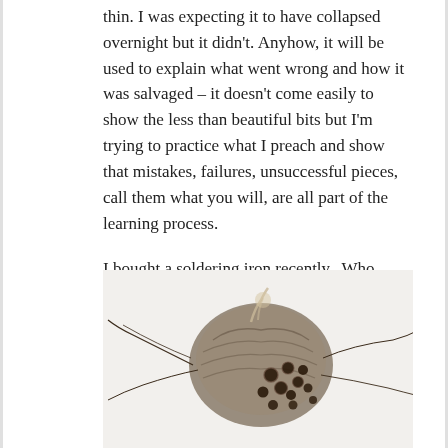thin. I was expecting it to have collapsed overnight but it didn't. Anyhow, it will be used to explain what went wrong and how it was salvaged – it doesn't come easily to show the less than beautiful bits but I'm trying to practice what I preach and show that mistakes, failures, unsuccessful pieces, call them what you will, are all part of the learning process.

I bought a soldering iron recently.  Who knew the delights of burning when you have the proper tools for the job?  This bit of messing about has got me thinking. I think more will follow...
[Figure (photo): A handcrafted nest-like sculptural object with burnt/burned holes, sitting against a light background with thin wire or twig elements extending outward.]